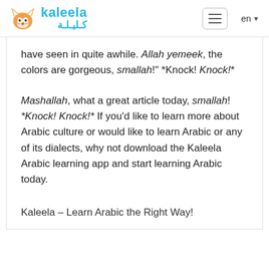kaleela كليلة
have seen in quite awhile. Allah yemeek, the colors are gorgeous, smallah!" *Knock! Knock!*
Mashallah, what a great article today, smallah! *Knock! Knock!* If you'd like to learn more about Arabic culture or would like to learn Arabic or any of its dialects, why not download the Kaleela Arabic learning app and start learning Arabic today.
Kaleela – Learn Arabic the Right Way!